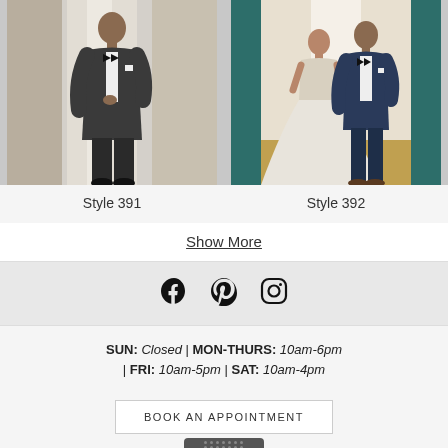[Figure (photo): Man in dark charcoal tuxedo suit with bow tie standing in studio setting]
Style 391
[Figure (photo): Couple in wedding attire — bride in white gown and groom in dark navy suit with bow tie standing near teal curtains]
Style 392
Show More
[Figure (other): Social media icons: Facebook, Pinterest, Instagram]
SUN: Closed | MON-THURS: 10am-6pm | FRI: 10am-5pm | SAT: 10am-4pm
BOOK AN APPOINTMENT